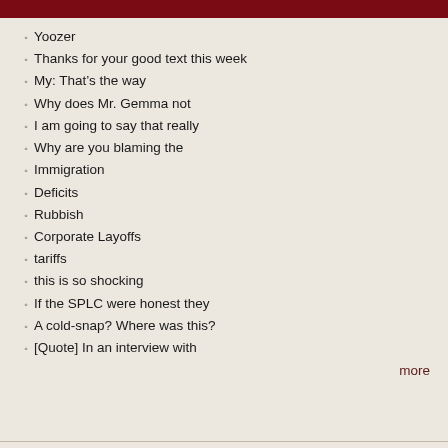RECENT COMMENTS
Yoozer
Thanks for your good text this week
My: That’s the way
Why does Mr. Gemma not
I am going to say that really
Why are you blaming the
Immigration
Deficits
Rubbish
Corporate Layoffs
tariffs
this is so shocking
If the SPLC were honest they
A cold-snap? Where was this?
[Quote] In an interview with
more